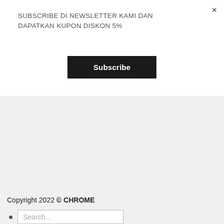SUBSCRIBE DI NEWSLETTER KAMI DAN DAPATKAN KUPON DISKON 5%
Subscribe
×
Copyright 2022 © CHROME
Search...
Konfirmasi Pembayaran
Kategori
BACKPACK
WAISTBAG
ACCESSORIES
Cara Pemesanan
Login
Login
Username or email address *